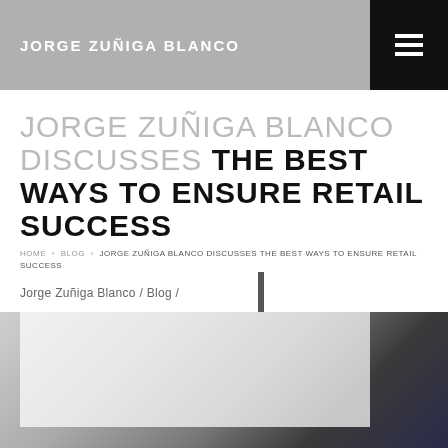JORGE ZUÑIGA BLANCO
JORGE ZUÑIGA BLANCO DISCUSSES THE BEST WAYS TO ENSURE RETAIL SUCCESS
HOME › BLOG › JORGE ZUÑIGA BLANCO DISCUSSES THE BEST WAYS TO ENSURE RETAIL SUCCESS
Jorge Zuñiga Blanco / Blog /
[Figure (photo): Background photo of a person in dark clothing, possibly in a retail or office environment, partially obscured by a white overlay box]